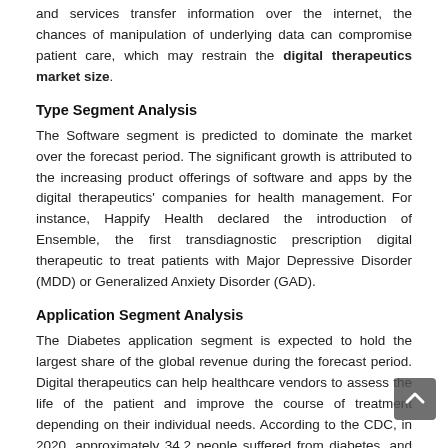and services transfer information over the internet, the chances of manipulation of underlying data can compromise patient care, which may restrain the digital therapeutics market size.
Type Segment Analysis
The Software segment is predicted to dominate the market over the forecast period. The significant growth is attributed to the increasing product offerings of software and apps by the digital therapeutics' companies for health management. For instance, Happify Health declared the introduction of Ensemble, the first transdiagnostic prescription digital therapeutic to treat patients with Major Depressive Disorder (MDD) or Generalized Anxiety Disorder (GAD).
Application Segment Analysis
The Diabetes application segment is expected to hold the largest share of the global revenue during the forecast period. Digital therapeutics can help healthcare vendors to assess the life of the patient and improve the course of treatment depending on their individual needs. According to the CDC, in 2020, approximately 34.2 people suffered from diabetes, and 10.5% of this population was from the U.S. The increasing incidences of diabetes and other chronic diseases is another factor fuelling the market growth. The obesity application segment is projected to expand at a faster CAGR over